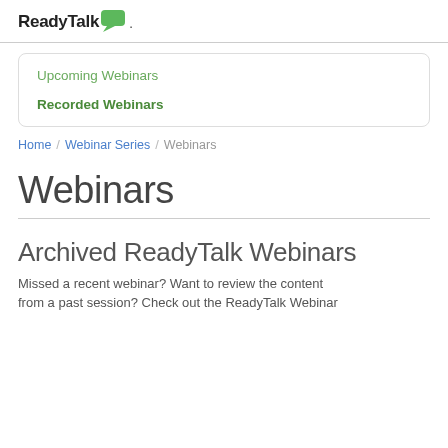[Figure (logo): ReadyTalk logo with green speech bubble icon and bold text 'ReadyTalk']
Upcoming Webinars
Recorded Webinars
Home / Webinar Series / Webinars
Webinars
Archived ReadyTalk Webinars
Missed a recent webinar? Want to review the content from a past session? Check out the ReadyTalk Webinar